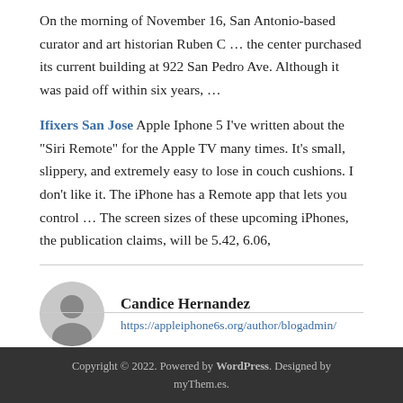On the morning of November 16, San Antonio-based curator and art historian Ruben C … the center purchased its current building at 922 San Pedro Ave. Although it was paid off within six years, …
Ifixers San Jose Apple Iphone 5 I've written about the "Siri Remote" for the Apple TV many times. It's small, slippery, and extremely easy to lose in couch cushions. I don't like it. The iPhone has a Remote app that lets you control … The screen sizes of these upcoming iPhones, the publication claims, will be 5.42, 6.06,
Candice Hernandez
https://appleiphone6s.org/author/blogadmin/
Copyright © 2022. Powered by WordPress. Designed by myThem.es.